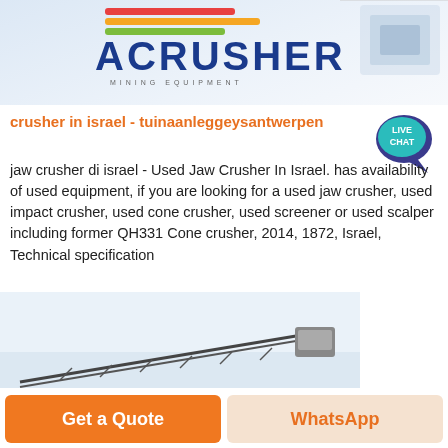[Figure (logo): ACRUSHER Mining Equipment logo with colored stripes (red, orange, green) and dark blue bold text, with an image of mining equipment on the right]
crusher in israel - tuinaanleggeysantwerpen
[Figure (illustration): Live Chat speech bubble icon in teal/purple]
jaw crusher di israel - Used Jaw Crusher In Israel. has availability of used equipment, if you are looking for a used jaw crusher, used impact crusher, used cone crusher, used screener or used scalper including former QH331 Cone crusher, 2014, 1872, Israel, Technical specification
Learn More →
[Figure (photo): Photo of a large industrial conveyor or crane structure against a light sky background]
Get a Quote
WhatsApp